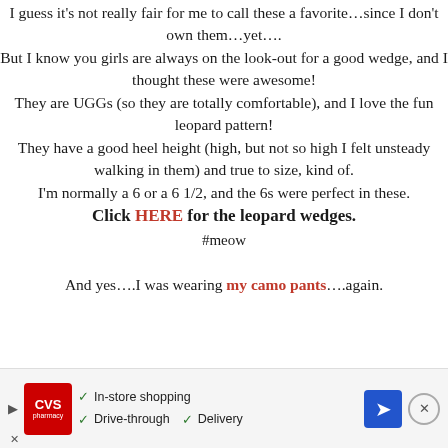I guess it's not really fair for me to call these a favorite…since I don't own them…yet…. But I know you girls are always on the look-out for a good wedge, and I thought these were awesome! They are UGGs (so they are totally comfortable), and I love the fun leopard pattern! They have a good heel height (high, but not so high I felt unsteady walking in them) and true to size, kind of. I'm normally a 6 or a 6 1/2, and the 6s were perfect in these. Click HERE for the leopard wedges. #meow And yes….I was wearing my camo pants….again.
[Figure (screenshot): CVS Pharmacy advertisement banner at bottom of page showing CVS logo, checkmarks for In-store shopping, Drive-through, and Delivery, plus a navigation/maps icon and close button.]